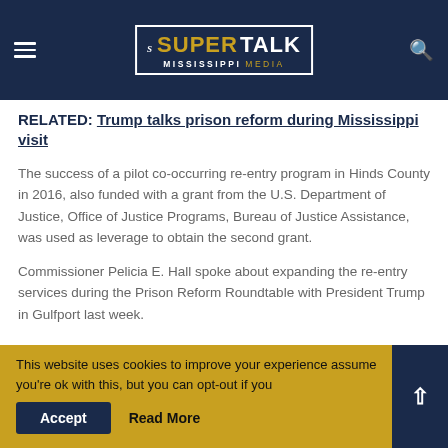SuperTalk Mississippi Media
RELATED: Trump talks prison reform during Mississippi visit
The success of a pilot co-occurring re-entry program in Hinds County in 2016, also funded with a grant from the U.S. Department of Justice, Office of Justice Programs, Bureau of Justice Assistance, was used as leverage to obtain the second grant.
Commissioner Pelicia E. Hall spoke about expanding the re-entry services during the Prison Reform Roundtable with President Trump in Gulfport last week.
This website uses cookies to improve your experience assume you're ok with this, but you can opt-out if you